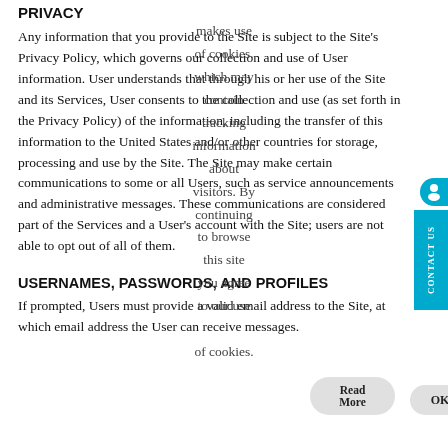PRIVACY
Any information that you provide to the Site is subject to the Site's Privacy Policy, which governs our collection and use of User information. User understands that through his or her use of the Site and its Services, User consents to the collection and use (as set forth in the Privacy Policy) of the information, including the transfer of this information to the United States and/or other countries for storage, processing and use by the Site. The Site may make certain communications to some or all Users, such as service announcements and administrative messages. These communications are considered part of the Services and a User's account with the Site; users are not able to opt out of all of them.
[Figure (infographic): Cookie consent overlay popup displaying text: 'makes use of cookies. which may contain tracking information about visitors. By continuing to browse this site you agree to our use of cookies.' with Read More and OK buttons]
USERNAMES, PASSWORDS, AND PROFILES
If prompted, Users must provide a valid email address to the Site, at which email address the User can receive messages.